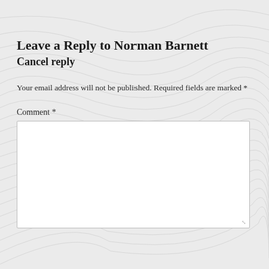Leave a Reply to Norman Barnett
Cancel reply
Your email address will not be published. Required fields are marked *
Comment *
[Figure (other): Empty comment text area input box with resize handle]